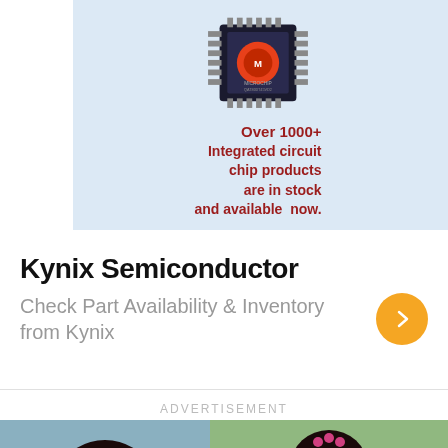[Figure (logo): Kynix logo in red italic bold font on white background]
[Figure (infographic): Kynix Semiconductor advertisement banner with microchip image on light blue background. Text: Over 1000+ Integrated circuit chip products are in stock and available now.]
Kynix Semiconductor
Check Part Availability & Inventory from Kynix
ADVERTISEMENT
[Figure (photo): Two photos of Indian women wearing traditional silk sarees with jewelry. Left photo shows woman in green-gold saree facing camera. Right photo shows woman in purple-gold saree from behind.]